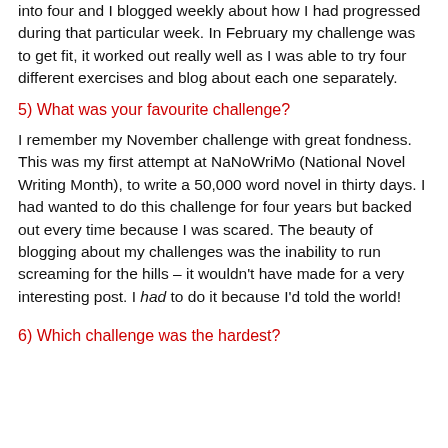into four and I blogged weekly about how I had progressed during that particular week. In February my challenge was to get fit, it worked out really well as I was able to try four different exercises and blog about each one separately.
5) What was your favourite challenge?
I remember my November challenge with great fondness. This was my first attempt at NaNoWriMo (National Novel Writing Month), to write a 50,000 word novel in thirty days. I had wanted to do this challenge for four years but backed out every time because I was scared. The beauty of blogging about my challenges was the inability to run screaming for the hills – it wouldn't have made for a very interesting post. I had to do it because I'd told the world!
6) Which challenge was the hardest?